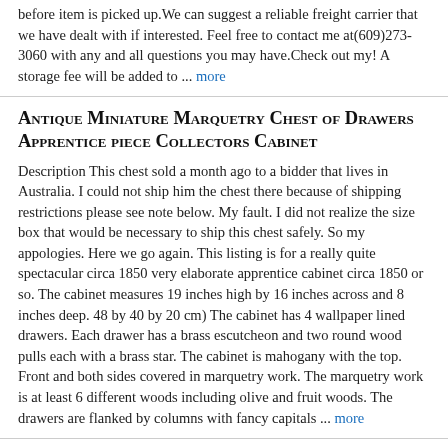before item is picked up.We can suggest a reliable freight carrier that we have dealt with if interested. Feel free to contact me at(609)273-3060 with any and all questions you may have.Check out my! A storage fee will be added to ... more
Antique Miniature Marquetry Chest of Drawers Apprentice piece Collectors Cabinet
Description This chest sold a month ago to a bidder that lives in Australia. I could not ship him the chest there because of shipping restrictions please see note below. My fault. I did not realize the size box that would be necessary to ship this chest safely. So my appologies. Here we go again. This listing is for a really quite spectacular circa 1850 very elaborate apprentice cabinet circa 1850 or so. The cabinet measures 19 inches high by 16 inches across and 8 inches deep. 48 by 40 by 20 cm) The cabinet has 4 wallpaper lined drawers. Each drawer has a brass escutcheon and two round wood pulls each with a brass star. The cabinet is mahogany with the top. Front and both sides covered in marquetry work. The marquetry work is at least 6 different woods including olive and fruit woods. The drawers are flanked by columns with fancy capitals ... more
Antique Serpentine Bird's Eye Maple Tall Chest of Drawers
The table top has mother of pearl inlays and it is decorated with hand painted gold trim and a flower pattern. The same gold trim and flower pattern is continued on the base and the column. A pedestal base is rising from a stepped circular foundation on three feet. Condition: The table is in its original condition with beautiful patina. It is shows normal